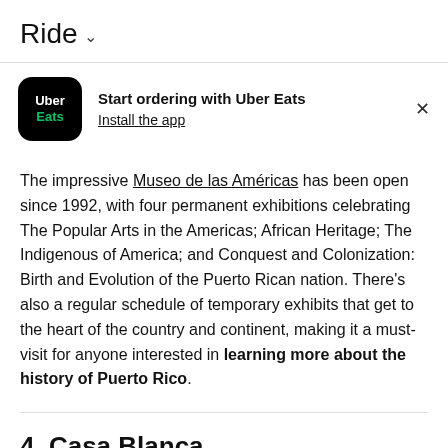Ride ˅
[Figure (logo): Uber Eats app logo — black rounded square with 'Uber' in white and 'Eats' in green]
Start ordering with Uber Eats
Install the app
The impressive Museo de las Américas has been open since 1992, with four permanent exhibitions celebrating The Popular Arts in the Americas; African Heritage; The Indigenous of America; and Conquest and Colonization: Birth and Evolution of the Puerto Rican nation. There's also a regular schedule of temporary exhibits that get to the heart of the country and continent, making it a must-visit for anyone interested in learning more about the history of Puerto Rico.
4. Casa Blanca